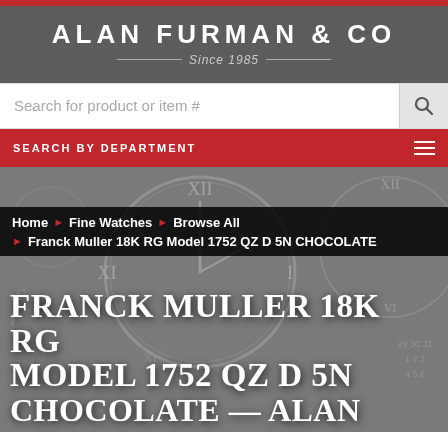ALAN FURMAN & CO
Since 1985
Search for product or item #
SEARCH BY DEPARTMENT
[Figure (screenshot): Dark background with clock faces showing Roman numerals]
Home › Fine Watches › Browse All
Franck Muller 18K RG Model 1752 QZ D 5N CHOCOLATE
FRANCK MULLER 18K RG MODEL 1752 QZ D 5N CHOCOLATE — ALAN